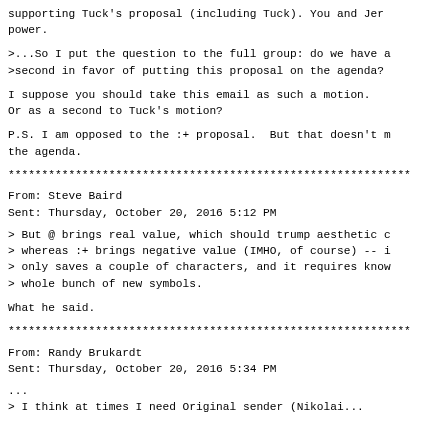supporting Tuck's proposal (including Tuck). You and Jer power.
>...So I put the question to the full group: do we have a >second in favor of putting this proposal on the agenda?
I suppose you should take this email as such a motion.
Or as a second to Tuck's motion?
P.S. I am opposed to the :+ proposal.  But that doesn't m the agenda.
************************************************************
From: Steve Baird
Sent: Thursday, October 20, 2016  5:12 PM
> But @ brings real value, which should trump aesthetic c
> whereas :+ brings negative value (IMHO, of course) -- i
> only saves a couple of characters, and it requires know
> whole bunch of new symbols.
What he said.
************************************************************
From: Randy Brukardt
Sent: Thursday, October 20, 2016  5:34 PM
...
> I think at times I need Original sender (Nikolai...